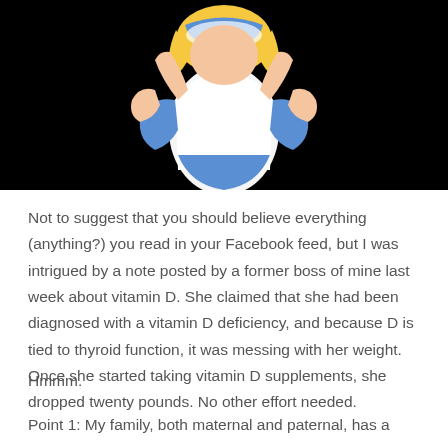[Figure (illustration): Cartoon illustration of a blonde female character in a white top and blue skirt/outfit, viewed from behind/side, set against a black background. The character appears to be from an animated style.]
Not to suggest that you should believe everything (anything?) you read in your Facebook feed, but I was intrigued by a note posted by a former boss of mine last week about vitamin D. She claimed that she had been diagnosed with a vitamin D deficiency, and because D is tied to thyroid function, it was messing with her weight. Once she started taking vitamin D supplements, she dropped twenty pounds. No other effort needed.
Hmmm.
Point 1: My family, both maternal and paternal, has a